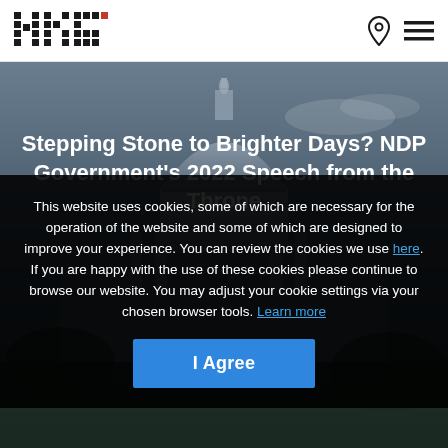[Figure (logo): HKS logo — blocky pixel-style letters H, K, S with a small red square, in dark grey/black]
[Figure (photo): Aerial/upward photograph of a government building dome (capitol), dark bluish-grey sky background]
Stepping Stone to Brighter Days? NDP Government's 2022 Speech from the Throne
This website uses cookies, some of which are necessary for the operation of the website and some of which are designed to improve your experience. You can review the cookies we use here. If you are happy with the use of these cookies please continue to browse our website. You may adjust your cookie settings via your chosen browser tools. Learn more
I Agree